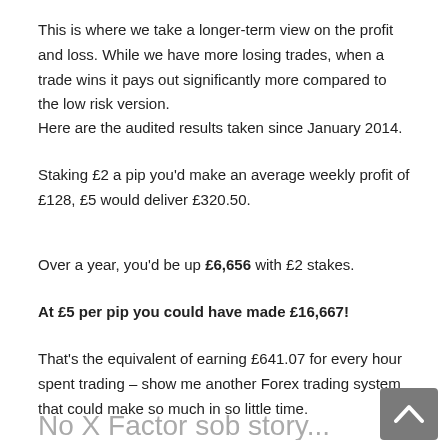This is where we take a longer-term view on the profit and loss. While we have more losing trades, when a trade wins it pays out significantly more compared to the low risk version.
Here are the audited results taken since January 2014.
Staking £2 a pip you'd make an average weekly profit of £128, £5 would deliver £320.50.
Over a year, you'd be up £6,656 with £2 stakes.
At £5 per pip you could have made £16,667!
That's the equivalent of earning £641.07 for every hour spent trading – show me another Forex trading system that could make so much in so little time.
No X Factor sob story... bu